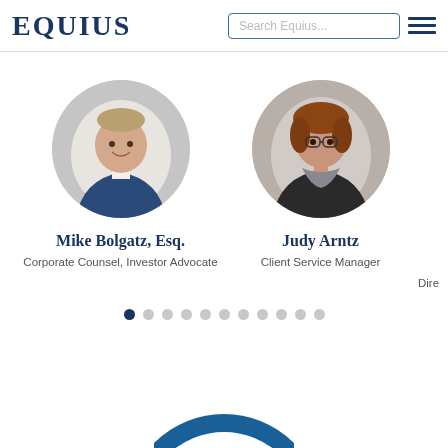EQUIUS
[Figure (photo): Circular portrait photo of Mike Bolgatz, Esq., a man in a blue suit]
Mike Bolgatz, Esq.
Corporate Counsel, Investor Advocate
[Figure (photo): Circular portrait photo of Judy Arntz, a woman with glasses and a scarf]
Judy Arntz
Client Service Manager
Dire
[Figure (other): Carousel pagination dots, 11 total, first dot is filled dark navy, rest are light grey]
[Figure (logo): Partial large circular blue ring/letter O at the bottom of the page]